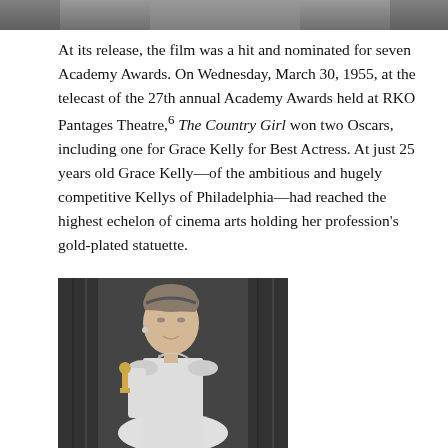[Figure (photo): Top portion of a black-and-white photograph showing people, cropped at the top of the page]
At its release, the film was a hit and nominated for seven Academy Awards. On Wednesday, March 30, 1955, at the telecast of the 27th annual Academy Awards held at RKO Pantages Theatre,⁶ The Country Girl won two Oscars, including one for Grace Kelly for Best Actress. At just 25 years old Grace Kelly—of the ambitious and hugely competitive Kellys of Philadelphia—had reached the highest echelon of cinema arts holding her profession’s gold-plated statuette.
[Figure (photo): Black-and-white photograph of Grace Kelly holding her Oscar statuette at the 27th Academy Awards ceremony, wearing a white dress and long gloves, with curtains in the background]